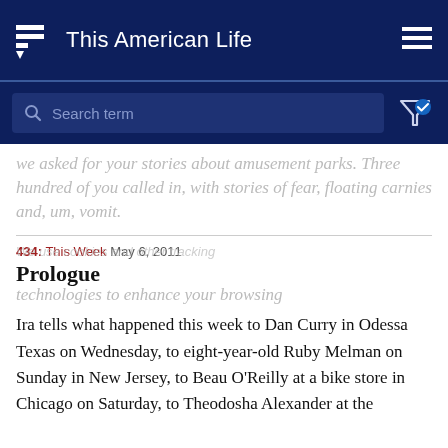This American Life
[Figure (screenshot): Search bar with magnifying glass icon and placeholder text 'Search term', with filter icon on the right]
We asked for your stories about amusement parks. Three hundred of you called in, with stories of fear, floating carnies and, um, vomit.
434: This Week  May 6, 2011
Prologue
Ira tells what happened this week to Dan Curry in Odessa Texas on Wednesday, to eight-year-old Ruby Melman on Sunday in New Jersey, to Beau O'Reilly at a bike store in Chicago on Saturday, to Theodosha Alexander at the